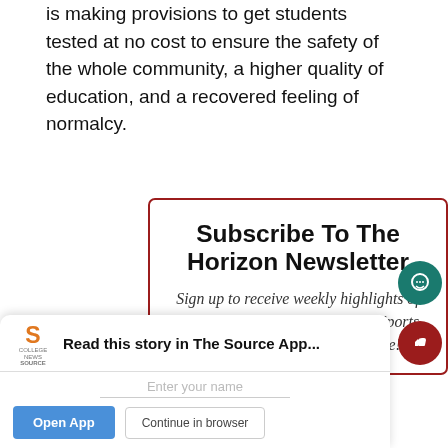is making provisions to get students tested at no cost to ensure the safety of the whole community, a higher quality of education, and a recovered feeling of normalcy.
Subscribe To The Horizon Newsletter
Sign up to receive weekly highlights of our favorite articles from News, Sports, Arts & Entertainment and more!
[Figure (screenshot): App install banner with College News Source logo, 'Read this story in The Source App...' text, Enter your name field, Open App button, and Continue in browser button]
[Figure (other): Teal circular chat/comment FAB button]
[Figure (other): Dark red circular thumbs up/like FAB button]